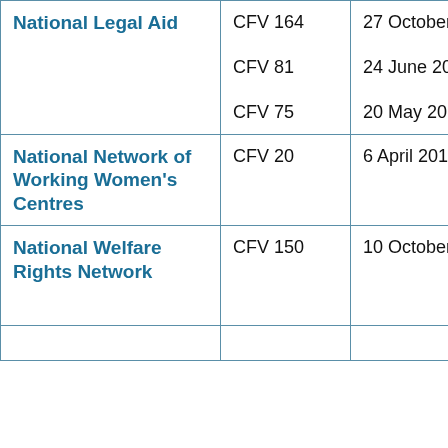| Organisation | CFV Number | Date |
| --- | --- | --- |
| National Legal Aid | CFV 164
CFV 81
CFV 75 | 27 October 2011
24 June 2011
20 May 2011 |
| National Network of Working Women's Centres | CFV 20 | 6 April 2011 |
| National Welfare Rights Network | CFV 150 | 10 October 2011 |
|  |  |  |